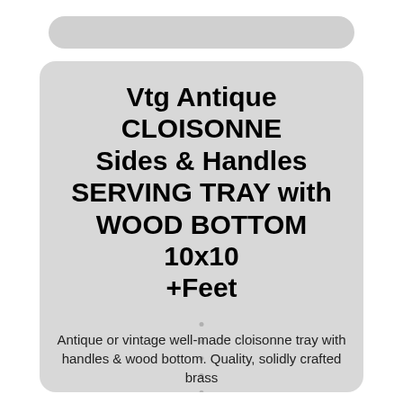Vtg Antique CLOISONNE Sides & Handles SERVING TRAY with WOOD BOTTOM 10x10 +Feet
Antique or vintage well-made cloisonne tray with handles & wood bottom. Quality, solidly crafted brass